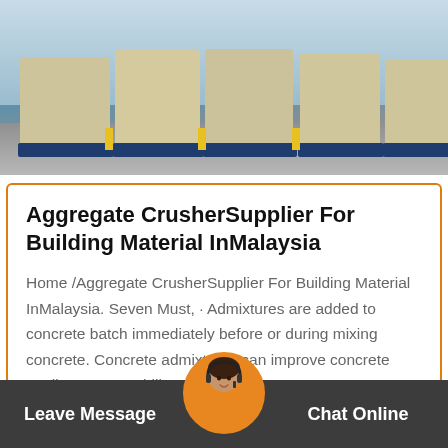[Figure (photo): Industrial aggregate crusher machines in a warehouse or factory setting. Multiple large beige/cream colored machines with blue bases lined up on a concrete floor.]
Aggregate CrusherSupplier For Building Material InMalaysia
Home /Aggregate CrusherSupplier For Building Material InMalaysia. Seven Must, · Admixtures are added to concrete batch immediately before or during mixing concrete. Concrete admixtures can improve concrete quality, manageability,…
Leave Message   Chat Online